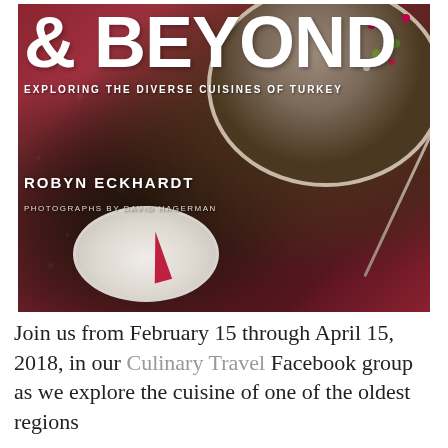[Figure (photo): Book cover of a cookbook titled '& BEYOND: Exploring the Diverse Cuisines of Turkey' by Robyn Eckhardt, with photographs by David Hagerman. The cover shows food dishes including a bowl with pomegranate seeds and various ingredients, on a red floral patterned background.]
Join us from February 15 through April 15, 2018, in our Culinary Travel Facebook group as we explore the cuisine of one of the oldest regions